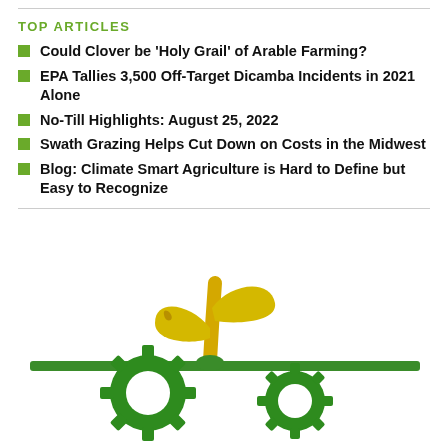TOP ARTICLES
Could Clover be 'Holy Grail' of Arable Farming?
EPA Tallies 3,500 Off-Target Dicamba Incidents in 2021 Alone
No-Till Highlights: August 25, 2022
Swath Grazing Helps Cut Down on Costs in the Midwest
Blog: Climate Smart Agriculture is Hard to Define but Easy to Recognize
[Figure (illustration): Agricultural logo/illustration showing a yellow plant sprout with green gear/cog wheels at the base and a green horizontal bar, representing no-till or sustainable farming.]